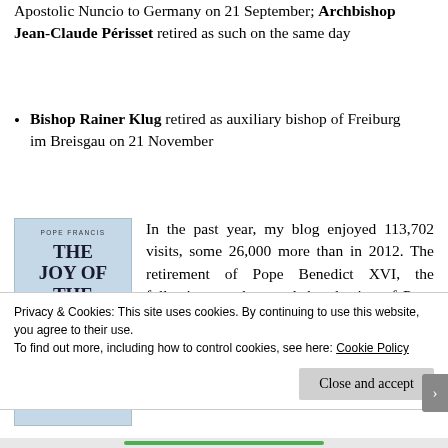Apostolic Nuncio to Germany on 21 September; Archbishop Jean-Claude Périsset retired as such on the same day
Bishop Rainer Klug retired as auxiliary bishop of Freiburg im Breisgau on 21 November
[Figure (photo): Book cover of 'The Joy of the Gospel' (Evangelii Gaudium) by Pope Francis, light blue cover with gold papal emblem]
In the past year, my blog enjoyed 113,702 visits, some 26,000 more than in 2012. The retirement of Pope Benedict XVI, the following conclave and the election of Pope Francis, the Scalfari interview and the corrected English translation I
Privacy & Cookies: This site uses cookies. By continuing to use this website, you agree to their use.
To find out more, including how to control cookies, see here: Cookie Policy
Close and accept